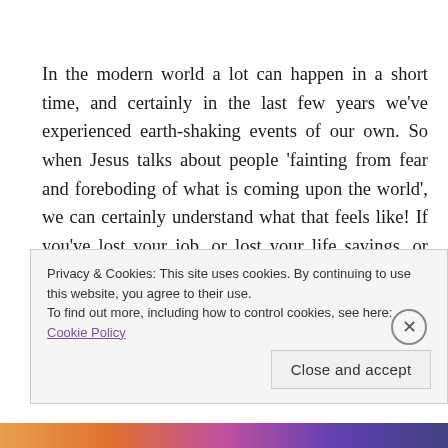In the modern world a lot can happen in a short time, and certainly in the last few years we've experienced earth-shaking events of our own. So when Jesus talks about people 'fainting from fear and foreboding of what is coming upon the world', we can certainly understand what that feels like! If you've lost your job, or lost your life savings, or lost your pension plan, or if the future that looked safe and secure suddenly looks anything but
Privacy & Cookies: This site uses cookies. By continuing to use this website, you agree to their use.
To find out more, including how to control cookies, see here: Cookie Policy
Close and accept